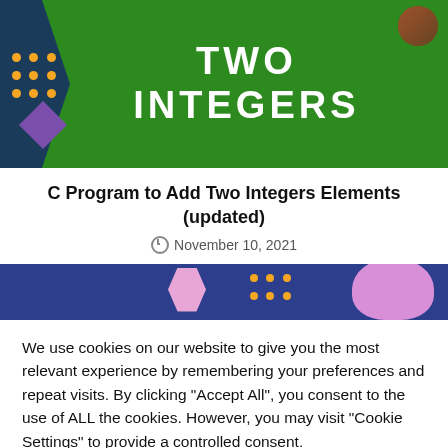[Figure (illustration): Green banner with 'TWO INTEGERS' text in large white bold letters, decorative dark teal arrow shape on left, orange dots, purple diamond, and avatar image in top-right corner.]
C Program to Add Two Integers Elements (updated)
November 10, 2021
[Figure (illustration): Dark navy blue banner strip with pink hexagon, orange dots, and pink blob shapes on the right side.]
We use cookies on our website to give you the most relevant experience by remembering your preferences and repeat visits. By clicking "Accept All", you consent to the use of ALL the cookies. However, you may visit "Cookie Settings" to provide a controlled consent.